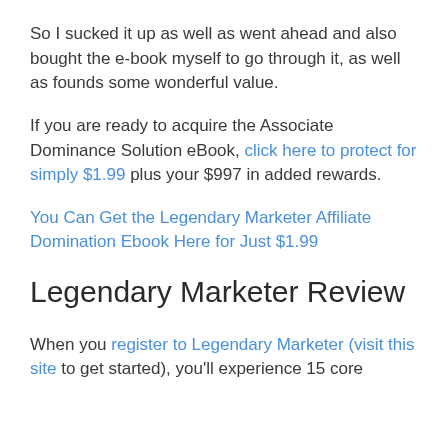So I sucked it up as well as went ahead and also bought the e-book myself to go through it, as well as founds some wonderful value.
If you are ready to acquire the Associate Dominance Solution eBook, click here to protect for simply $1.99 plus your $997 in added rewards.
You Can Get the Legendary Marketer Affiliate Domination Ebook Here for Just $1.99
Legendary Marketer Review
When you register to Legendary Marketer (visit this site to get started), you'll experience 15 core